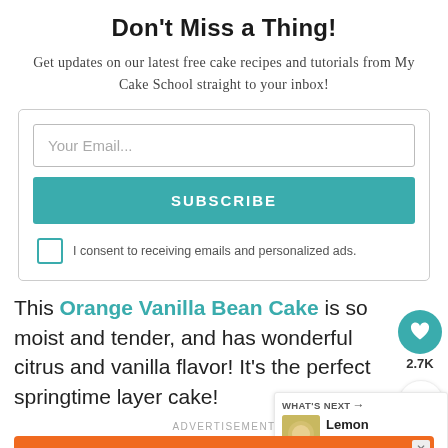Don't Miss a Thing!
Get updates on our latest free cake recipes and tutorials from My Cake School straight to your inbox!
Your Email...
SUBSCRIBE
I consent to receiving emails and personalized ads.
This Orange Vanilla Bean Cake is so moist and tender, and has wonderful citrus and vanilla flavor! It's the perfect springtime layer cake!
WHAT'S NEXT → Lemon Coconut Ca...
ADVERTISEMENT
You can help hungry kids. NOKID HUNGRY LEARN HOW